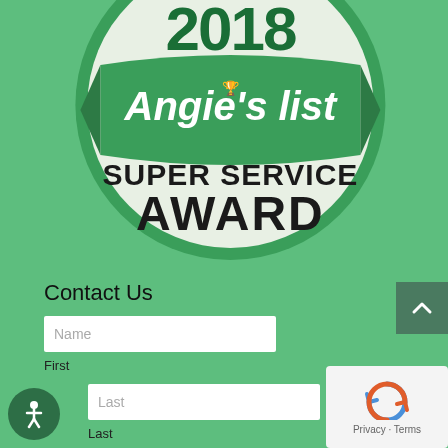[Figure (logo): Angie's List Super Service Award 2018 badge. A circular badge with green border and banner showing 'Angie's list' in white text on green background. Large text reads 'SUPER SERVICE AWARD' with '2018' at top.]
Contact Us
Name
First
Last
Last
[Figure (other): reCAPTCHA widget with robot icon and text 'Privacy - Terms']
[Figure (other): Accessibility icon - circular button with person figure in white on dark green background]
[Figure (other): Back to top button - dark green square with upward caret arrow]